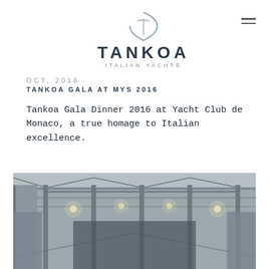[Figure (logo): Tankoa Italian Yachts logo with shield/sail icon above TANKOA in bold caps and ITALIAN YACHTS in small spaced caps]
OCT, 2016
TANKOA GALA AT MYS 2016
Tankoa Gala Dinner 2016 at Yacht Club de Monaco, a true homage to Italian excellence.
[Figure (photo): Interior photo of a large industrial or event space with metal structural beams on ceiling and walls, and hanging lights, possibly under construction or being set up.]